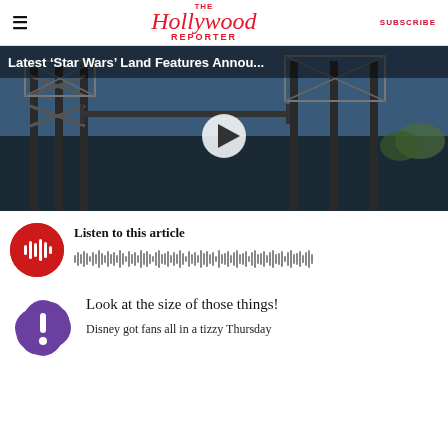The Hollywood Reporter — SUBSCRIBE
[Figure (screenshot): Video thumbnail showing Star Wars Land construction with steel framework structures against blue sky. Title overlay reads 'Latest 'Star Wars' Land Features Annou...' with a play button in the center.]
Listen to this article
[Figure (infographic): Audio player waveform with red circular play button icon showing sound waves.]
Look at the size of those things!
Disney got fans all in a tizzy Thursday